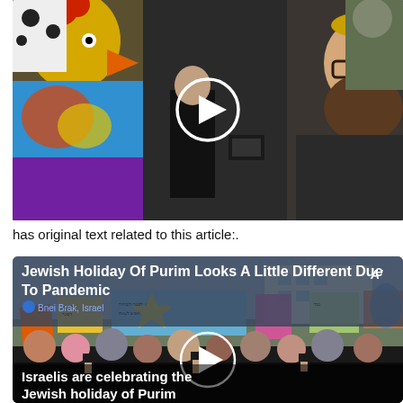[Figure (photo): Video thumbnail showing a street scene with people in costumes (including a chicken/rooster costume with colorful clothes) on the left, a crowd of people filming in the middle, and a bearded man with a kippah on the right. A white circular play button is overlaid in the center.]
has original text related to this article:.
[Figure (photo): News article card with title 'Jewish Holiday Of Purim Looks A Little Different Due To Pandemic' overlaid on a video thumbnail showing a street protest/celebration in Israel with colorful banners and signs, crowds of people, with subtitle text 'Israelis are celebrating the Jewish holiday of Purim'. Location tag 'Bnei Brak, Israel' shown. A white circular play button is overlaid in the center.]